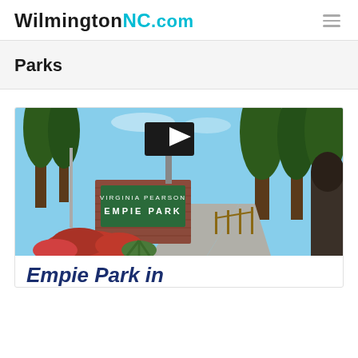WilmingtonNC.com
Parks
[Figure (photo): Entrance sign for Virginia Pearson Empie Park in Wilmington, NC. Brick pillar with green sign reading VIRGINIA PEARSON EMPIE PARK, surrounded by red flowering shrubs, pine trees in background, road entrance visible, street sign above.]
Empie Park in